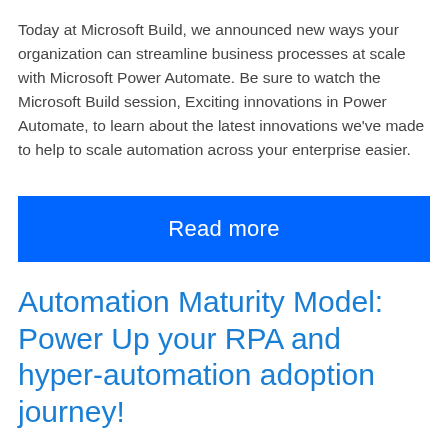Today at Microsoft Build, we announced new ways your organization can streamline business processes at scale with Microsoft Power Automate. Be sure to watch the Microsoft Build session, Exciting innovations in Power Automate, to learn about the latest innovations we've made to help to scale automation across your enterprise easier.
[Figure (other): Blue button with white text reading 'Read more']
Automation Maturity Model: Power Up your RPA and hyper-automation adoption journey!